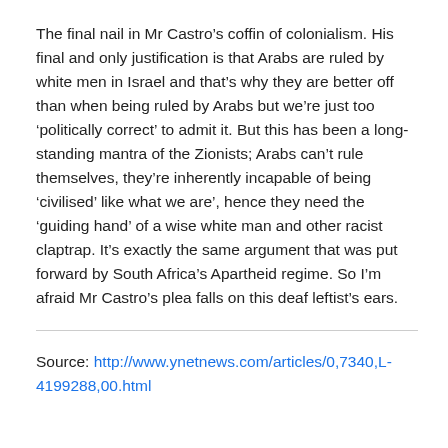The final nail in Mr Castro's coffin of colonialism. His final and only justification is that Arabs are ruled by white men in Israel and that's why they are better off than when being ruled by Arabs but we're just too 'politically correct' to admit it. But this has been a long-standing mantra of the Zionists; Arabs can't rule themselves, they're inherently incapable of being 'civilised' like what we are', hence they need the 'guiding hand' of a wise white man and other racist claptrap. It's exactly the same argument that was put forward by South Africa's Apartheid regime. So I'm afraid Mr Castro's plea falls on this deaf leftist's ears.
Source: http://www.ynetnews.com/articles/0,7340,L-4199288,00.html